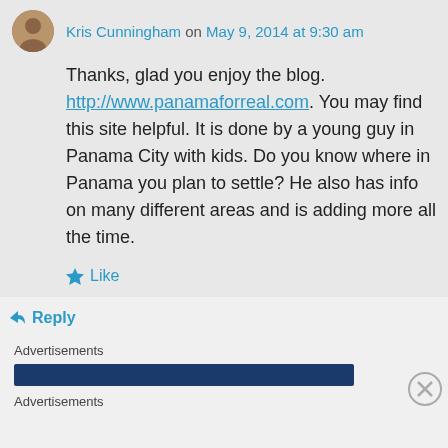Kris Cunningham on May 9, 2014 at 9:30 am
Thanks, glad you enjoy the blog. http://www.panamaforreal.com. You may find this site helpful. It is done by a young guy in Panama City with kids. Do you know where in Panama you plan to settle? He also has info on many different areas and is adding more all the time.
★ Like
↪ Reply
Advertisements
Advertisements